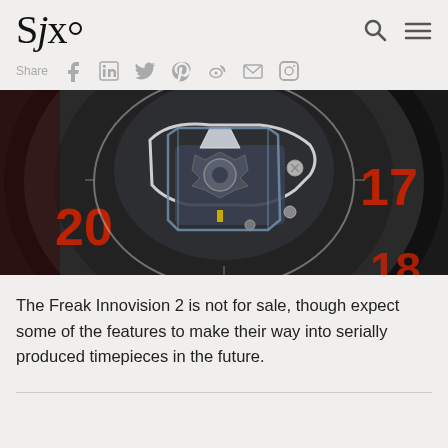SJx.
Share
[Figure (photo): Close-up macro photograph of a Ulysse Nardin Freak Innovision 2 watch movement showing the intricate mechanical components, red numerals 20 and 17 visible on the dial, on a dark background]
The Freak Innovision 2 is not for sale, though expect some of the features to make their way into serially produced timepieces in the future.